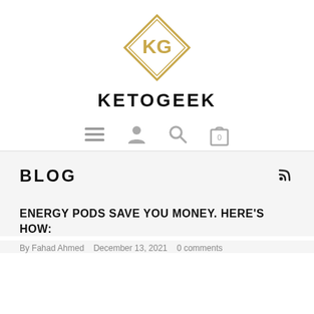[Figure (logo): KG logo — diamond shape with gold/yellow geometric border and KG letters inside]
KETOGEEK
[Figure (other): Navigation icons: hamburger menu, user/person icon, search magnifying glass, shopping bag with 0]
BLOG
ENERGY PODS SAVE YOU MONEY. HERE'S HOW:
By Fahad Ahmed   December 13, 2021   0 comments